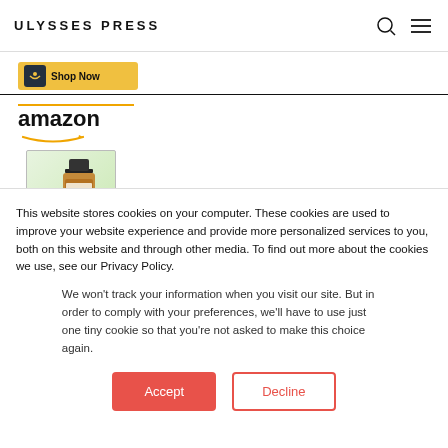ULYSSES PRESS
[Figure (screenshot): Partial view of an Amazon 'Shop Now' button with gold background and Amazon smile icon, plus a horizontal dividing line]
[Figure (screenshot): Amazon advertisement showing the Amazon logo with orange arrow and a product (essential oil bottle) image below]
This website stores cookies on your computer. These cookies are used to improve your website experience and provide more personalized services to you, both on this website and through other media. To find out more about the cookies we use, see our Privacy Policy.
We won't track your information when you visit our site. But in order to comply with your preferences, we'll have to use just one tiny cookie so that you're not asked to make this choice again.